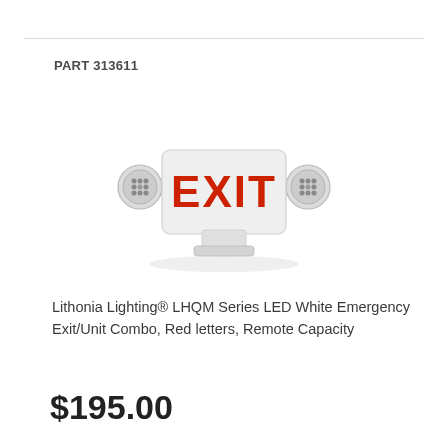PART 313611
[Figure (photo): Lithonia Lighting LHQM Series LED White Emergency Exit/Unit Combo with red EXIT letters and two round LED emergency light heads on either side, mounted on a white rectangular housing]
Lithonia Lighting® LHQM Series LED White Emergency Exit/Unit Combo, Red letters, Remote Capacity
$195.00